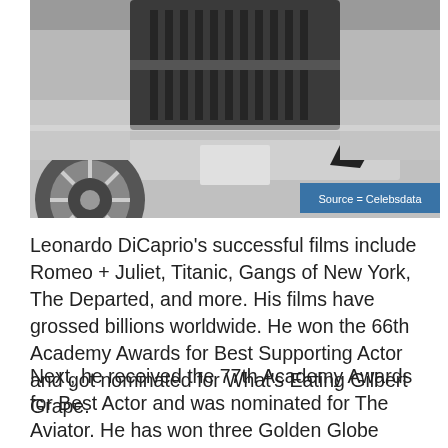[Figure (photo): Close-up front view of a silver luxury/sports car showing the grille, headlights, and one wheel. A blue badge in the bottom right reads 'Source = Celebsdata'.]
Leonardo DiCaprio's successful films include Romeo + Juliet, Titanic, Gangs of New York, The Departed, and more. His films have grossed billions worldwide. He won the 66th Academy Awards for Best Supporting Actor and got nominated for What's Eating Gilbert Grape.
Next, he received the 77th Academy Awards for Best Actor and was nominated for The Aviator. He has won three Golden Globe Awards, Best Actor Motion Picture Drama for the Aviator, BAFTA Award for Best Actor in Leading Role for the